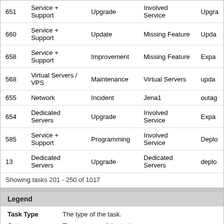| ID | Category | Task Type | Summary | Status/Notes |
| --- | --- | --- | --- | --- |
| 651 | Service + Support | Upgrade | Involved Service | Upgra... |
| 660 | Service + Support | Update | Missing Feature | Upda... |
| 658 | Service + Support | Improvement | Missing Feature | Expa... |
| 568 | Virtual Servers / VPS | Maintenance | Virtual Servers | upda... |
| 655 | Network | Incident | Jena1 | outag... |
| 654 | Dedicated Servers | Upgrade | Involved Service | Expa... |
| 585 | Service + Support | Programming | Involved Service | Deplo... |
| 13 | Dedicated Servers | Upgrade | Dedicated Servers | deplo... |
Showing tasks 201 - 250 of 1017
| Legend |  |
| --- | --- |
| Task Type | The type of the task. |
| Category | The category of the task. |
| Summary | A short summary of the task. |
| Status | The status of the task. |
| Last Edited | The date when the task was last edited. |
| Progress | The progress of the task in percent. |